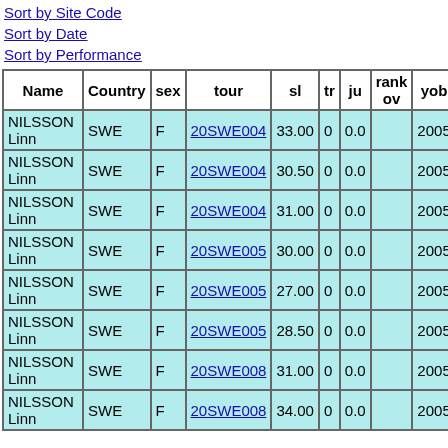Sort by Site Code
Sort by Date
Sort by Performance
| Name | Country | sex | tour | sl | tr | ju | rank ov | yob | class |
| --- | --- | --- | --- | --- | --- | --- | --- | --- | --- |
| NILSSON Linn | SWE | F | 20SWE004 | 33.00 | 0 | 0.0 |  | 2005 | L |
| NILSSON Linn | SWE | F | 20SWE004 | 30.50 | 0 | 0.0 |  | 2005 | L |
| NILSSON Linn | SWE | F | 20SWE004 | 31.00 | 0 | 0.0 |  | 2005 | L |
| NILSSON Linn | SWE | F | 20SWE005 | 30.00 | 0 | 0.0 |  | 2005 | L |
| NILSSON Linn | SWE | F | 20SWE005 | 27.00 | 0 | 0.0 |  | 2005 | L |
| NILSSON Linn | SWE | F | 20SWE005 | 28.50 | 0 | 0.0 |  | 2005 | L |
| NILSSON Linn | SWE | F | 20SWE008 | 31.00 | 0 | 0.0 |  | 2005 | L |
| NILSSON Linn | SWE | F | 20SWE008 | 34.00 | 0 | 0.0 |  | 2005 | L |